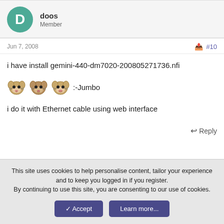doos
Member
Jun 7, 2008
#10
i have install gemini-440-dm7020-200805271736.nfi
[Figure (illustration): Three small hamster/guinea pig emoji faces in a row followed by the text ':-Jumbo']
i do it with Ethernet cable using web interface
Reply
This site uses cookies to help personalise content, tailor your experience and to keep you logged in if you register. By continuing to use this site, you are consenting to our use of cookies.
Accept
Learn more...